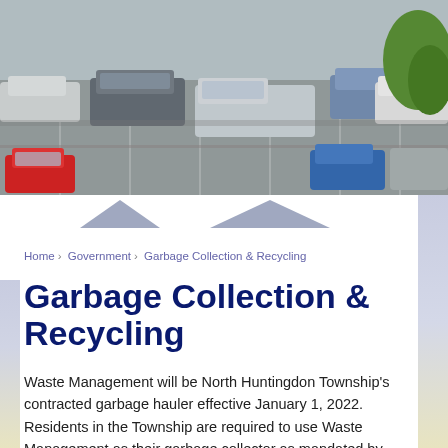[Figure (photo): Aerial/overhead view of a parking lot with multiple cars parked, including a red car, silver pickup truck, and various other vehicles. Trees visible in upper right corner.]
Home › Government › Garbage Collection & Recycling
Garbage Collection & Recycling
Waste Management will be North Huntingdon Township's contracted garbage hauler effective January 1, 2022. Residents in the Township are required to use Waste Management as their garbage collector as mandated by Township ordinance.  To contact Waste Management, please call 800-474-3340...